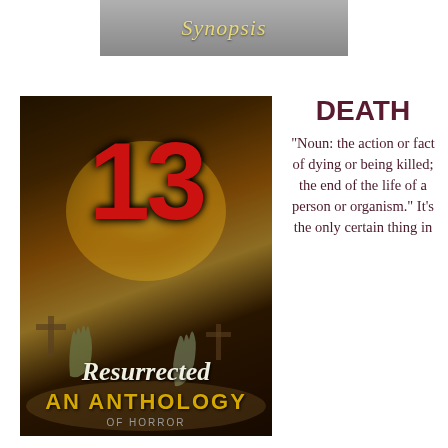[Figure (illustration): Synopsis banner image with open book and golden italic 'Synopsis' text on grey background]
[Figure (photo): Book cover of '13 Resurrected: An Anthology of Horror' featuring zombie hands rising from graves, large red number 13, glowing orange background, and stylized title text]
DEATH
“Noun: the action or fact of dying or being killed; the end of the life of a person or organism.” It’s the only certain thing in